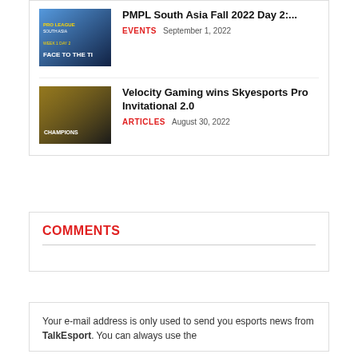PMPL South Asia Fall 2022 Day 2:...
EVENTS  September 1, 2022
Velocity Gaming wins Skyesports Pro Invitational 2.0
ARTICLES  August 30, 2022
COMMENTS
Your e-mail address is only used to send you esports news from TalkEsport. You can always use the